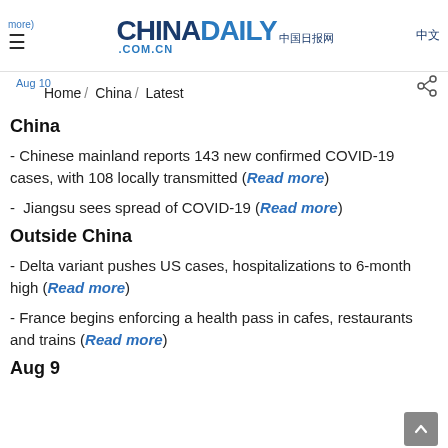CHINA DAILY 中国日报网 COM.CN 中文
Home / China / Latest
China
- Chinese mainland reports 143 new confirmed COVID-19 cases, with 108 locally transmitted (Read more)
- Jiangsu sees spread of COVID-19 (Read more)
Outside China
- Delta variant pushes US cases, hospitalizations to 6-month high (Read more)
- France begins enforcing a health pass in cafes, restaurants and trains (Read more)
Aug 9